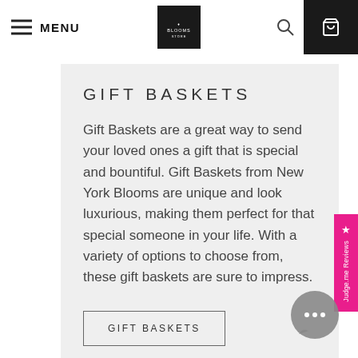MENU | BLOOMS LOGO | [search] [cart]
GIFT BASKETS
Gift Baskets are a great way to send your loved ones a gift that is special and bountiful. Gift Baskets from New York Blooms are unique and look luxurious, making them perfect for that special someone in your life. With a variety of options to choose from, these gift baskets are sure to impress.
GIFT BASKETS